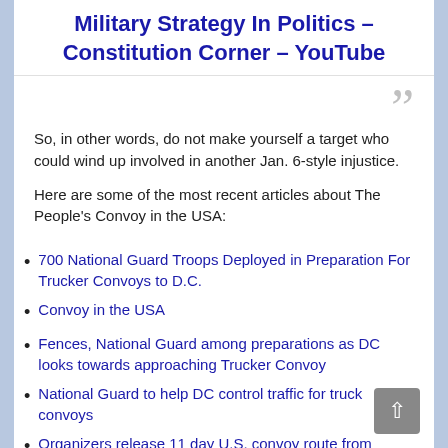Military Strategy In Politics – Constitution Corner – YouTube
So, in other words, do not make yourself a target who could wind up involved in another Jan. 6-style injustice.
Here are some of the most recent articles about The People's Convoy in the USA:
700 National Guard Troops Deployed in Preparation For Trucker Convoys to D.C.
Convoy in the USA
Fences, National Guard among preparations as DC looks towards approaching Trucker Convoy
National Guard to help DC control traffic for truck convoys
Organizers release 11 day U.S. convoy route from California to D.C. Beltway